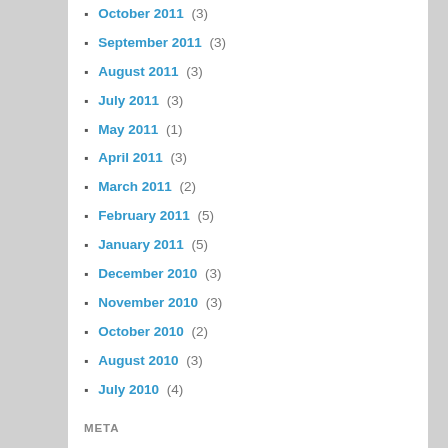October 2011 (3)
September 2011 (3)
August 2011 (3)
July 2011 (3)
May 2011 (1)
April 2011 (3)
March 2011 (2)
February 2011 (5)
January 2011 (5)
December 2010 (3)
November 2010 (3)
October 2010 (2)
August 2010 (3)
July 2010 (4)
META
Register
Log in
Entries feed
Comments feed
WordPress.com